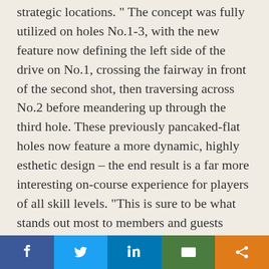strategic locations. “ The concept was fully utilized on holes No.1-3, with the new feature now defining the left side of the drive on No.1, crossing the fairway in front of the second shot, then traversing across No.2 before meandering up through the third hole. These previously pancaked-flat holes now feature a more dynamic, highly esthetic design – the end result is a far more interesting on-course experience for players of all skill levels. “This is sure to be what stands out most to members and guests when they re-
[Figure (infographic): Social media sharing bar with five buttons: Facebook (dark blue), Twitter (light blue), LinkedIn (medium blue), Email/envelope (green), Share (orange)]